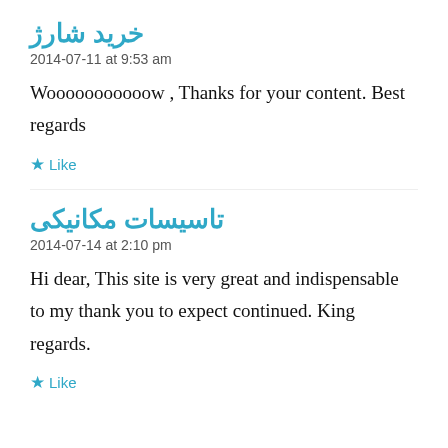خرید شارژ
2014-07-11 at 9:53 am
Wooooooooooow , Thanks for your content. Best regards
★ Like
تاسیسات مکانیکی
2014-07-14 at 2:10 pm
Hi dear, This site is very great and indispensable to my thank you to expect continued. King regards.
★ Like